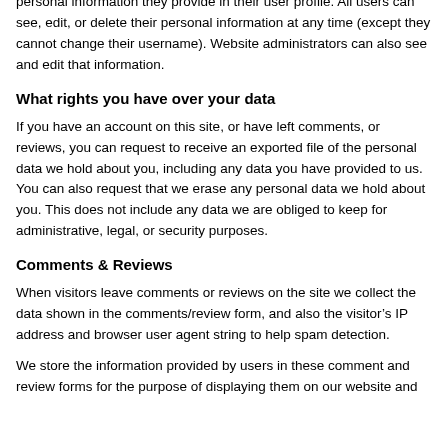personal information they provide in their user profile. All users can see, edit, or delete their personal information at any time (except they cannot change their username). Website administrators can also see and edit that information.
What rights you have over your data
If you have an account on this site, or have left comments, or reviews, you can request to receive an exported file of the personal data we hold about you, including any data you have provided to us. You can also request that we erase any personal data we hold about you. This does not include any data we are obliged to keep for administrative, legal, or security purposes.
Comments & Reviews
When visitors leave comments or reviews on the site we collect the data shown in the comments/review form, and also the visitor’s IP address and browser user agent string to help spam detection.
We store the information provided by users in these comment and review forms for the purpose of displaying them on our website and